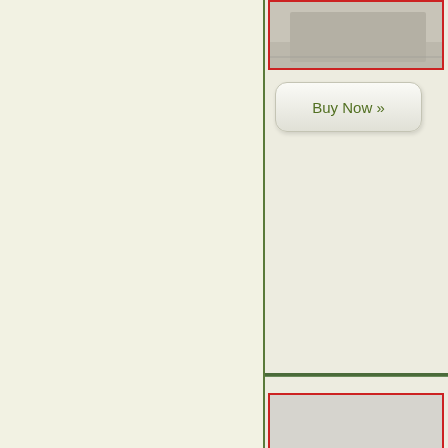[Figure (photo): Partial view of a model train or concrete surface product photo at top, with red border frame]
[Figure (other): Buy Now button - rounded rectangle button with green text reading 'Buy Now »']
[Figure (photo): Model railroad flatcar - brown/rust colored flat car with wheel trucks on a grey background, red border frame]
[Figure (other): Buy Now button - rounded rectangle button with green text reading 'Buy Now »']
[Figure (photo): Partial view of a model locomotive in dark tones at the bottom, red border frame]